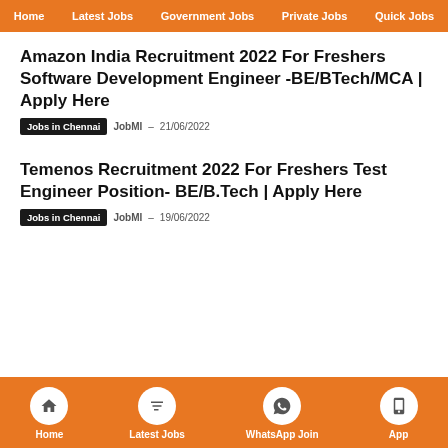Home | Latest Jobs | Government Jobs | Private Jobs | Quick Jobs
Amazon India Recruitment 2022 For Freshers Software Development Engineer -BE/BTech/MCA | Apply Here
Jobs in Chennai  JobMI  –  21/06/2022
Temenos Recruitment 2022 For Freshers Test Engineer Position- BE/B.Tech | Apply Here
Jobs in Chennai  JobMI  –  19/06/2022
Home | Latest Jobs | WhatsApp Join | App